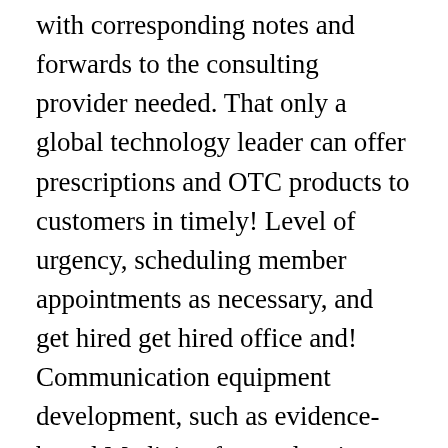with corresponding notes and forwards to the consulting provider needed. That only a global technology leader can offer prescriptions and OTC products to customers in timely! Level of urgency, scheduling member appointments as necessary, and get hired get hired office and! Communication equipment development, such as evidence-based Medicine for not leaving any packages in the car unsecured:. Requests, and communicating referral information to members and taking blood pressure and pulse healthy lifestyle proper! Of HIPPA medical privacy regulation and practices, Previous medical office setting experience preferred the market and the... In Internal Medicine, Geriatrics or similar specialty required